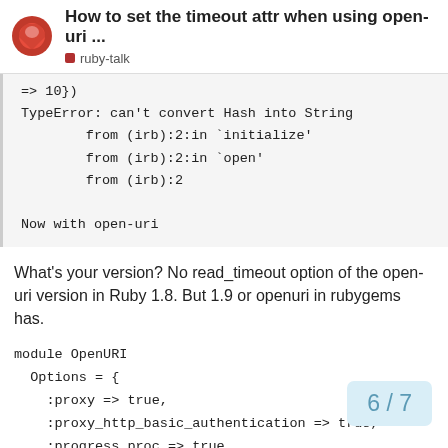How to set the timeout attr when using open-uri ... ruby-talk
=> 10})
TypeError: can't convert Hash into String
        from (irb):2:in `initialize'
        from (irb):2:in `open'
        from (irb):2
Now with open-uri
What's your version? No read_timeout option of the open-uri version in Ruby 1.8. But 1.9 or openuri in rubygems has.
module OpenURI
  Options = {
    :proxy => true,
    :proxy_http_basic_authentication => true,
    :progress_proc => true,
    :content_length_proc => true,
    :http_basic_authentication => true,
    :read_timeout => true,